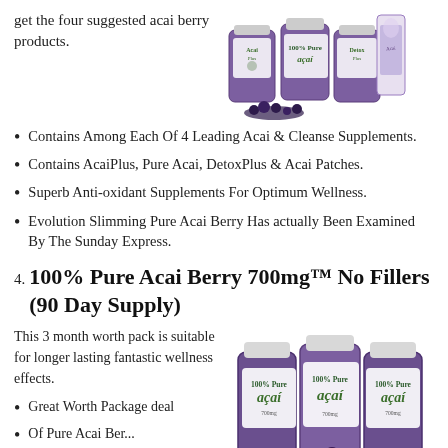get the four suggested acai berry products.
[Figure (photo): Product image showing AcaiPlus, Pure Acai, DetoxPlus supplement bottles and a bag, with acai berries in foreground]
Contains Among Each Of 4 Leading Acai & Cleanse Supplements.
Contains AcaiPlus, Pure Acai, DetoxPlus & Acai Patches.
Superb Anti-oxidant Supplements For Optimum Wellness.
Evolution Slimming Pure Acai Berry Has actually Been Examined By The Sunday Express.
4. 100% Pure Acai Berry 700mg™ No Fillers (90 Day Supply)
This 3 month worth pack is suitable for longer lasting fantastic wellness effects.
Great Worth Package deal
Of Pure Acai Ber...
[Figure (photo): Three purple supplement bottles labeled '100% Pure acai']